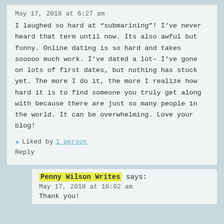May 17, 2018 at 6:27 am
I laughed so hard at “submarining”! I’ve never heard that term until now. Its also awful but funny. Online dating is so hard and takes sooooo much work. I’ve dated a lot– I’ve gone on lots of first dates, but nothing has stuck yet. The more I do it, the more I realize how hard it is to find someone you truly get along with because there are just so many people in the world. It can be overwhelming. Love your blog!
★ Liked by 1 person
Reply
Penny Wilson Writes says:
May 17, 2018 at 10:02 am
Thank you!